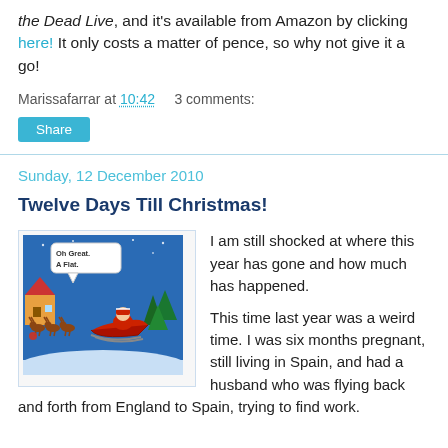the Dead Live, and it's available from Amazon by clicking here! It only costs a matter of pence, so why not give it a go!
Marissafarrar at 10:42    3 comments:
Share
Sunday, 12 December 2010
Twelve Days Till Christmas!
[Figure (illustration): A Christmas cartoon showing Santa in his sleigh with reindeer. One reindeer has a flat tyre. A speech bubble reads 'Oh Great. A Flat.']
I am still shocked at where this year has gone and how much has happened.

This time last year was a weird time. I was six months pregnant, still living in Spain, and had a husband who was flying back and forth from England to Spain, trying to find work.